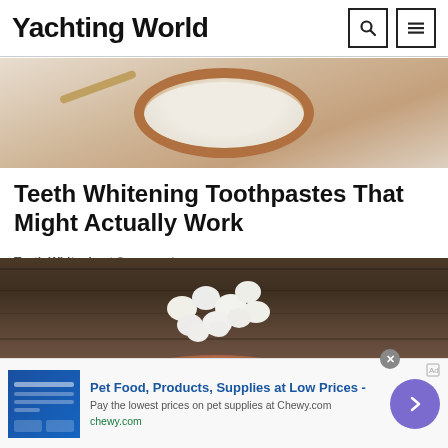Yachting World
[Figure (photo): Top portion of a wooden bowl with white powder/cream on a light background]
Teeth Whitening Toothpastes That Might Actually Work
Teeth Whitening | Sponsored
[Figure (photo): White cottage cheese or milk kefir grains in a wooden spoon on a dark rustic wood background]
Pet Food, Products, Supplies at Low Prices - Pay the lowest prices on pet supplies at Chewy.com chewy.com